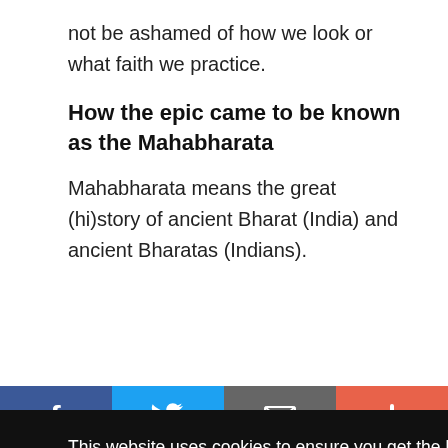not be ashamed of how we look or what faith we practice.
How the epic came to be known as the Mahabharata
Mahabharata means the great (hi)story of ancient Bharat (India) and ancient Bharatas (Indians).
a, f
This website uses cookies to ensure you get the best experience on our website.
Got it!